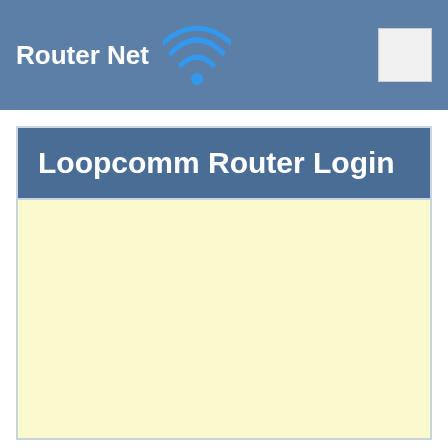Router Net
Loopcomm Router Login